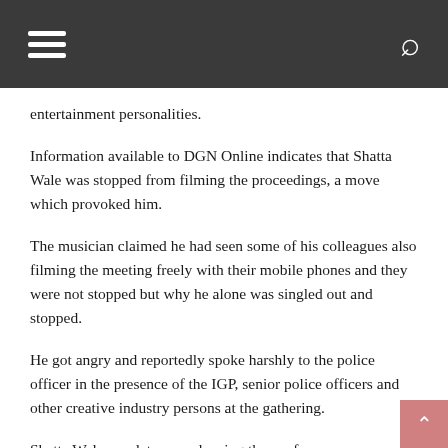[hamburger menu icon] [search icon]
entertainment personalities.
Information available to DGN Online indicates that Shatta Wale was stopped from filming the proceedings, a move which provoked him.
The musician claimed he had seen some of his colleagues also filming the meeting freely with their mobile phones and they were not stopped but why he alone was singled out and stopped.
He got angry and reportedly spoke harshly to the police officer in the presence of the IGP, senior police officers and other creative industry persons at the gathering.
Shatta Wale was later seen leaving the conference room as discussions were ongoing by the persons in attendance.